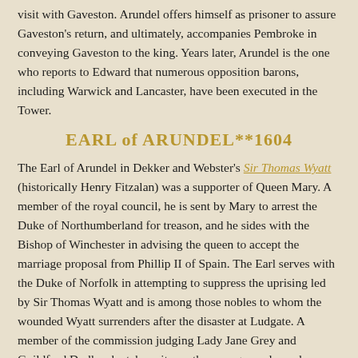visit with Gaveston. Arundel offers himself as prisoner to assure Gaveston's return, and ultimately, accompanies Pembroke in conveying Gaveston to the king. Years later, Arundel is the one who reports to Edward that numerous opposition barons, including Warwick and Lancaster, have been executed in the Tower.
EARL of ARUNDEL**1604
The Earl of Arundel in Dekker and Webster's Sir Thomas Wyatt (historically Henry Fitzalan) was a supporter of Queen Mary. A member of the royal council, he is sent by Mary to arrest the Duke of Northumberland for treason, and he sides with the Bishop of Winchester in advising the queen to accept the marriage proposal from Phillip II of Spain. The Earl serves with the Duke of Norfolk in attempting to suppress the uprising led by Sir Thomas Wyatt and is among those nobles to whom the wounded Wyatt surrenders after the disaster at Ludgate. A member of the commission judging Lady Jane Grey and Guildford Dudley, he takes pity on the young people, and supported by Norfolk, he along with the Bishop of Winchester and